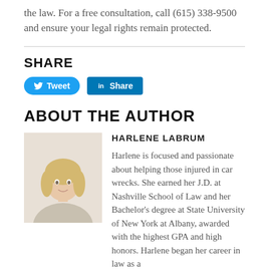the law. For a free consultation, call (615) 338-9500 and ensure your legal rights remain protected.
SHARE
[Figure (other): Social sharing buttons: Twitter Tweet button and LinkedIn Share button]
ABOUT THE AUTHOR
[Figure (photo): Headshot photo of Harlene Labrum, a blonde woman in light-colored attire]
HARLENE LABRUM
Harlene is focused and passionate about helping those injured in car wrecks. She earned her J.D. at Nashville School of Law and her Bachelor's degree at State University of New York at Albany, awarded with the highest GPA and high honors. Harlene began her career in law as a